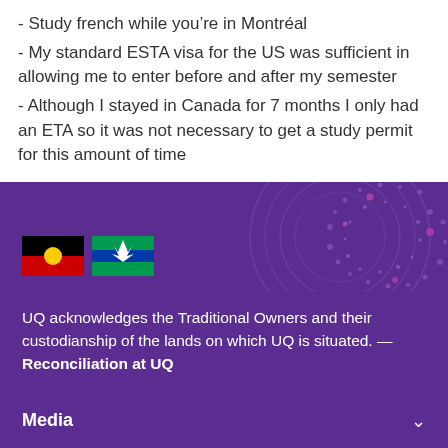- Study french while you're in Montréal
- My standard ESTA visa for the US was sufficient in allowing me to enter before and after my semester
- Although I stayed in Canada for 7 months I only had an ETA so it was not necessary to get a study permit for this amount of time
[Figure (illustration): UQ footer with decorative purple mandala/dot-art background, Aboriginal flag and Torres Strait Islander flag]
UQ acknowledges the Traditional Owners and their custodianship of the lands on which UQ is situated. — Reconciliation at UQ
Media
Working at UQ